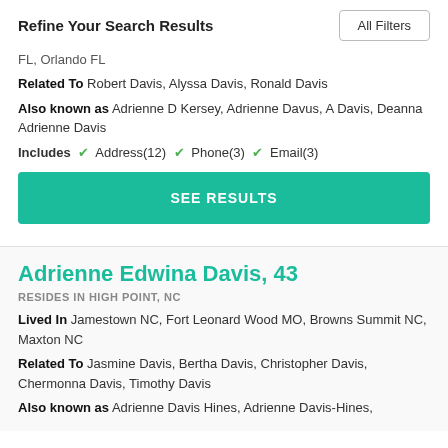Refine Your Search Results
FL, Orlando FL
Related To Robert Davis, Alyssa Davis, Ronald Davis
Also known as Adrienne D Kersey, Adrienne Davus, A Davis, Deanna Adrienne Davis
Includes ✓ Address(12) ✓ Phone(3) ✓ Email(3)
SEE RESULTS
Adrienne Edwina Davis, 43
RESIDES IN HIGH POINT, NC
Lived In Jamestown NC, Fort Leonard Wood MO, Browns Summit NC, Maxton NC
Related To Jasmine Davis, Bertha Davis, Christopher Davis, Chermonna Davis, Timothy Davis
Also known as Adrienne Davis Hines, Adrienne Davis-Hines,